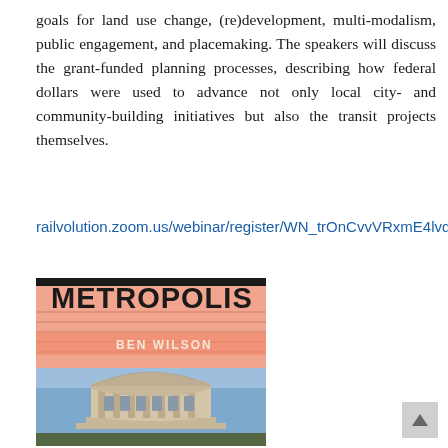goals for land use change, (re)development, multi-modalism, public engagement, and placemaking. The speakers will discuss the grant-funded planning processes, describing how federal dollars were used to advance not only local city- and community-building initiatives but also the transit projects themselves.
railvolution.zoom.us/webinar/register/WN_trOnCvvVRxmE4lvq4G
[Figure (illustration): Book cover of 'Metropolis' by Ben Wilson, showing the title in large black text on a salmon/pink background with an architectural illustration of a classical circular building.]